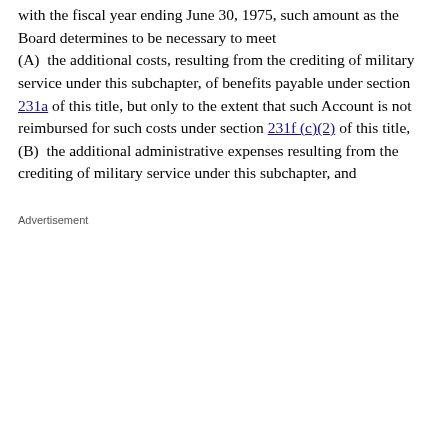with the fiscal year ending June 30, 1975, such amount as the Board determines to be necessary to meet (A)  the additional costs, resulting from the crediting of military service under this subchapter, of benefits payable under section 231a of this title, but only to the extent that such Account is not reimbursed for such costs under section 231f (c)(2) of this title, (B)  the additional administrative expenses resulting from the crediting of military service under this subchapter, and
Advertisement